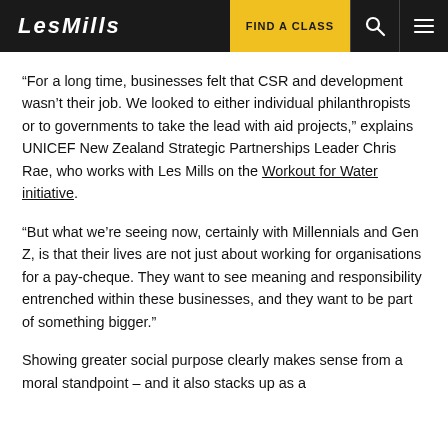LesMills | FIND A CLASS
“For a long time, businesses felt that CSR and development wasn’t their job. We looked to either individual philanthropists or to governments to take the lead with aid projects,” explains UNICEF New Zealand Strategic Partnerships Leader Chris Rae, who works with Les Mills on the Workout for Water initiative.
“But what we’re seeing now, certainly with Millennials and Gen Z, is that their lives are not just about working for organisations for a pay-cheque. They want to see meaning and responsibility entrenched within these businesses, and they want to be part of something bigger.”
Showing greater social purpose clearly makes sense from a moral standpoint – and it also stacks up as a